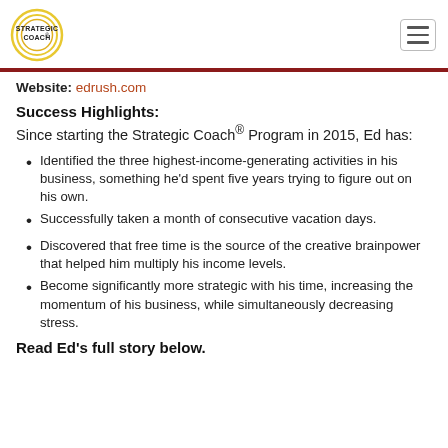Strategic Coach® logo and navigation
Website: edrush.com
Success Highlights:
Since starting the Strategic Coach® Program in 2015, Ed has:
Identified the three highest-income-generating activities in his business, something he'd spent five years trying to figure out on his own.
Successfully taken a month of consecutive vacation days.
Discovered that free time is the source of the creative brainpower that helped him multiply his income levels.
Become significantly more strategic with his time, increasing the momentum of his business, while simultaneously decreasing stress.
Read Ed's full story below.